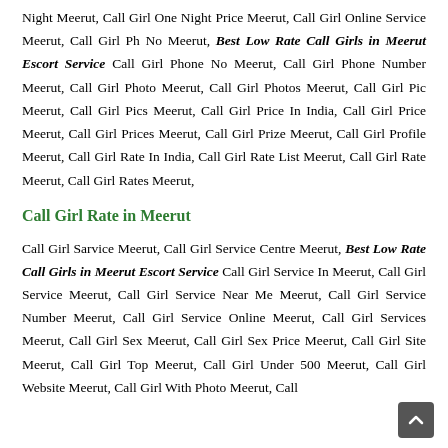Night Meerut, Call Girl One Night Price Meerut, Call Girl Online Service Meerut, Call Girl Ph No Meerut, Best Low Rate Call Girls in Meerut Escort Service Call Girl Phone No Meerut, Call Girl Phone Number Meerut, Call Girl Photo Meerut, Call Girl Photos Meerut, Call Girl Pic Meerut, Call Girl Pics Meerut, Call Girl Price In India, Call Girl Price Meerut, Call Girl Prices Meerut, Call Girl Prize Meerut, Call Girl Profile Meerut, Call Girl Rate In India, Call Girl Rate List Meerut, Call Girl Rate Meerut, Call Girl Rates Meerut,
Call Girl Rate in Meerut
Call Girl Sarvice Meerut, Call Girl Service Centre Meerut, Best Low Rate Call Girls in Meerut Escort Service Call Girl Service In Meerut, Call Girl Service Meerut, Call Girl Service Near Me Meerut, Call Girl Service Number Meerut, Call Girl Service Online Meerut, Call Girl Services Meerut, Call Girl Sex Meerut, Call Girl Sex Price Meerut, Call Girl Site Meerut, Call Girl Top Meerut, Call Girl Under 500 Meerut, Call Girl Website Meerut, Call Girl With Photo Meerut, Call